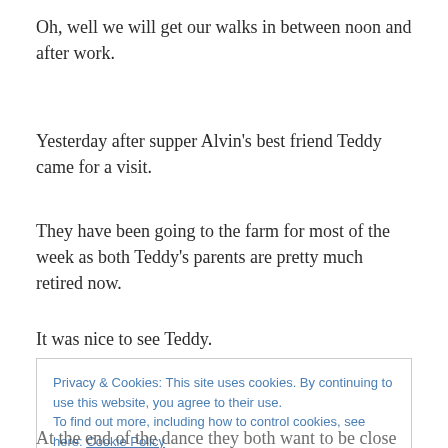Oh, well we will get our walks in between noon and after work.
Yesterday after supper Alvin's best friend Teddy came for a visit.
They have been going to the farm for most of the week as both Teddy's parents are pretty much retired now.
It was nice to see Teddy.
Privacy & Cookies: This site uses cookies. By continuing to use this website, you agree to their use.
To find out more, including how to control cookies, see here: Cookie Policy
At the end of the dance they both want to be close to me.